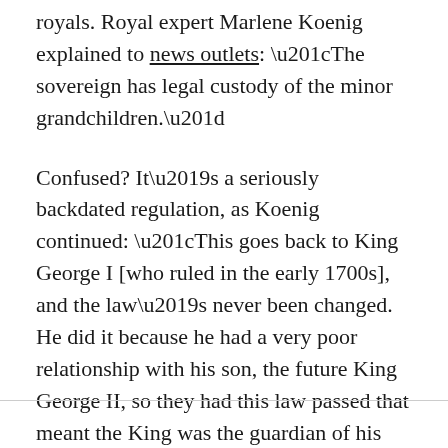royals. Royal expert Marlene Koenig explained to news outlets: “The sovereign has legal custody of the minor grandchildren.”
Confused? It’s a seriously backdated regulation, as Koenig continued: “This goes back to King George I [who ruled in the early 1700s], and the law’s never been changed. He did it because he had a very poor relationship with his son, the future King George II, so they had this law passed that meant the King was the guardian of his grandchildren.”